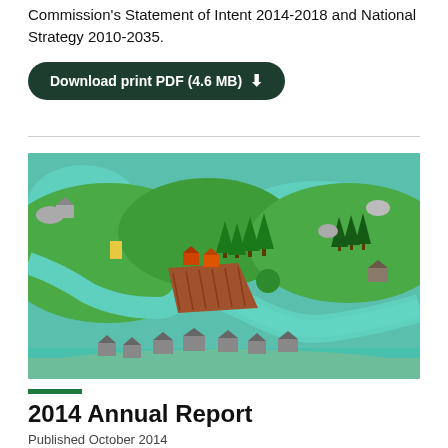Commission's Statement of Intent 2014-2018 and National Strategy 2010-2035.
Download print PDF (4.6 MB)
[Figure (illustration): Illustrated top-down landscape scene showing green hills, teal rivers/water bodies, brown ploughed fields, trees, small buildings/houses, and a beach coastline at the bottom. Style resembles a children's educational illustration or map artwork.]
2014 Annual Report
Published October 2014